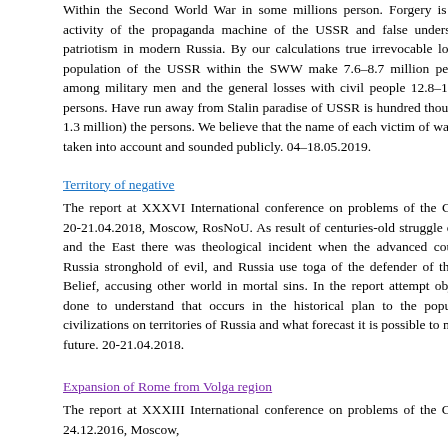Within the Second World War in some millions person. Forgery is caused by activity of the propaganda machine of the USSR and false understanding of patriotism in modern Russia. By our calculations true irrevocable losses of the population of the USSR within the SWW make 7.6–8.7 million persons from among military men and the general losses with civil people 12.8–13.9 million persons. Have run away from Stalin paradise of USSR is hundred thousand (up to 1.3 million) the persons. We believe that the name of each victim of war should be taken into account and sounded publicly. 04–18.05.2019.
Territory of negative
The report at XXXVI International conference on problems of the Civilization, 20-21.04.2018, Moscow, RosNoU. As result of centuries-old struggle of the West and the East there was theological incident when the advanced countries call Russia stronghold of evil, and Russia use toga of the defender of the God and Belief, accusing other world in mortal sins. In the report attempt objectively is done to understand that occurs in the historical plan to the population and civilizations on territories of Russia and what forecast it is possible to make on the future. 20-21.04.2018.
Expansion of Rome from Volga region
The report at XXXIII International conference on problems of the Civilization, 24.12.2016, Moscow,